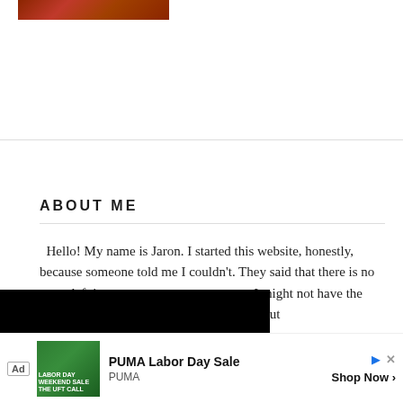[Figure (photo): Food photo cropped at top of page, showing reddish-brown cooked food]
ABOUT ME
Hello! My name is Jaron. I started this website, honestly, because someone told me I couldn't. They said that there is no room left in [the internet for another food blog]. Now, I might not have the [credentials needed to be] a professional chef, but [I do have some really gr]at ideas and strategies. [I have posts about pract]cal tips on freezing, [storing, and doing any]thing else you could do with fo[od. I write for home] cooks,
[Figure (screenshot): Black overlay covering left/center portion of page, likely a video player or advertisement]
[Figure (photo): Advertisement banner: PUMA Labor Day Sale. Ad shows jungle/green background with PUMA branding. Shop Now button.]